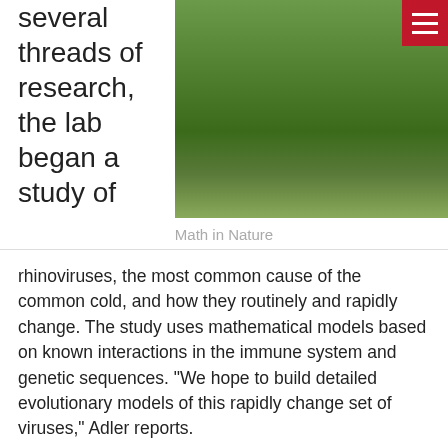several threads of research, the lab began a study of
[Figure (photo): Outdoor photo of people standing on grass, partially visible. Red hamburger menu button in top-right corner.]
Math in Nature
rhinoviruses, the most common cause of the common cold, and how they routinely and rapidly change. The study uses mathematical models based on known interactions in the immune system and genetic sequences. “We hope to build detailed evolutionary models of this rapidly change set of viruses,” Adler reports.
He and his team are now looking at cancer in humans. There are, of course, hypotheses of how cancer takes over cells in the body and grows. But too many of these hypotheses are based on assumptions that cells